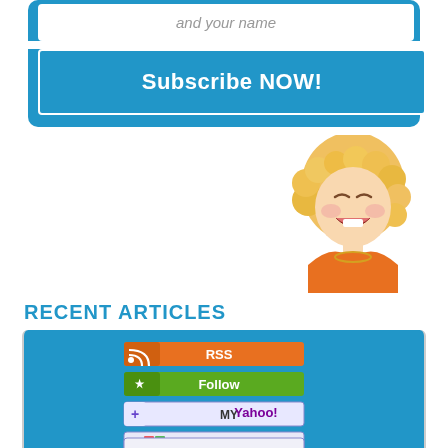and your name
Subscribe NOW!
[Figure (photo): Laughing curly-haired blonde child wearing orange]
RECENT ARTICLES
[Figure (infographic): RSS feed subscription buttons: RSS, Follow, My Yahoo!, My MSN, Bloglines]
BEST AMERICAN HISTORY FUN FACTS